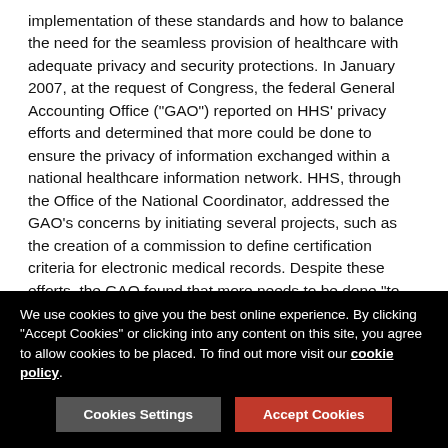implementation of these standards and how to balance the need for the seamless provision of healthcare with adequate privacy and security protections. In January 2007, at the request of Congress, the federal General Accounting Office ("GAO") reported on HHS' privacy efforts and determined that more could be done to ensure the privacy of information exchanged within a national healthcare information network. HHS, through the Office of the National Coordinator, addressed the GAO's concerns by initiating several projects, such as the creation of a commission to define certification criteria for electronic medical records. Despite these efforts, the GAO found that more needs to be done "to establish the high degree of public confidence and trust needed to help ensure the success of a nationwide health information network."3
We use cookies to give you the best online experience. By clicking "Accept Cookies" or clicking into any content on this site, you agree to allow cookies to be placed. To find out more visit our cookie policy.